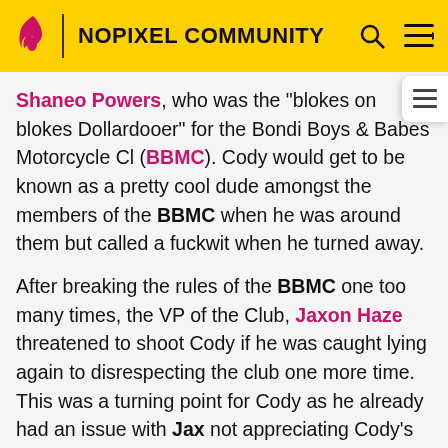NOPIXEL COMMUNITY
Shaneo Powers, who was the "blokes on blokes Dollardooer" for the Bondi Boys & Babes Motorcycle Club (BBMC). Cody would get to be known as a pretty cool dude amongst the members of the BBMC when he was around them but called a fuckwit when he turned away.
After breaking the rules of the BBMC one too many times, the VP of the Club, Jaxon Haze threatened to shoot Cody if he was caught lying again to disrespecting the club one more time. This was a turning point for Cody as he already had an issue with Jax not appreciating Cody's 4.6% (or maybe 6.1%, it's a bit hazy on the exact percentage) Hawaiian blood and heritage and told Jax to that if he was going to shoot him, then he should grow a pair and just shoot him. Jax being the coward everyone